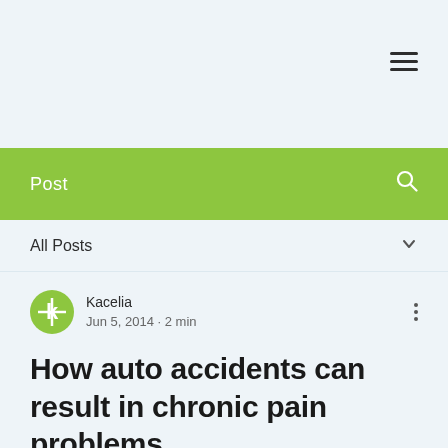Post
All Posts
Kacelia
Jun 5, 2014 · 2 min
How auto accidents can result in chronic pain problems